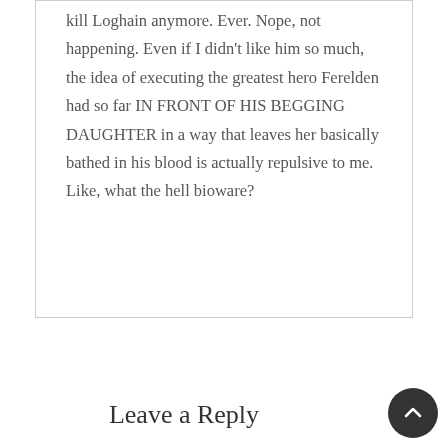kill Loghain anymore. Ever. Nope, not happening. Even if I didn't like him so much, the idea of executing the greatest hero Ferelden had so far IN FRONT OF HIS BEGGING DAUGHTER in a way that leaves her basically bathed in his blood is actually repulsive to me. Like, what the hell bioware?
Leave a Reply